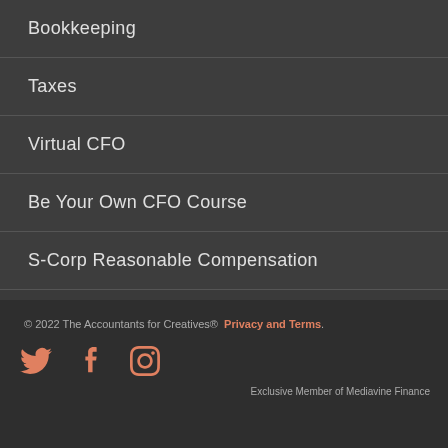Bookkeeping
Taxes
Virtual CFO
Be Your Own CFO Course
S-Corp Reasonable Compensation
© 2022 The Accountants for Creatives®  Privacy and Terms.  Exclusive Member of Mediavine Finance